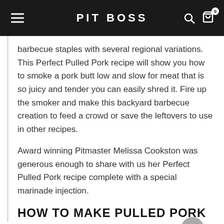PIT BOSS
barbecue staples with several regional variations. This Perfect Pulled Pork recipe will show you how to smoke a pork butt low and slow for meat that is so juicy and tender you can easily shred it. Fire up the smoker and make this backyard barbecue creation to feed a crowd or save the leftovers to use in other recipes.
Award winning Pitmaster Melissa Cookston was generous enough to share with us her Perfect Pulled Pork recipe complete with a special marinade injection.
HOW TO MAKE PULLED PORK